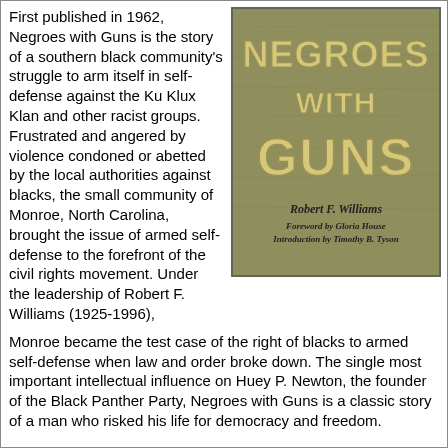First published in 1962, Negroes with Guns is the story of a southern black community's struggle to arm itself in self-defense against the Ku Klux Klan and other racist groups. Frustrated and angered by violence condoned or abetted by the local authorities against blacks, the small community of Monroe, North Carolina, brought the issue of armed self-defense to the forefront of the civil rights movement. Under the leadership of Robert F. Williams (1925-1996), Monroe became the test case of the right of blacks to armed self-defense when law and order broke down. The single most important intellectual influence on Huey P. Newton, the founder of the Black Panther Party, Negroes with Guns is a classic story of a man who risked his life for democracy and freedom.
[Figure (photo): Book cover of 'Negroes with Guns' by Robert F. Williams, with foreword by Gloria House and introduction by Timothy B. Tyson. Olive/khaki colored cover with bold raised block letter title.]